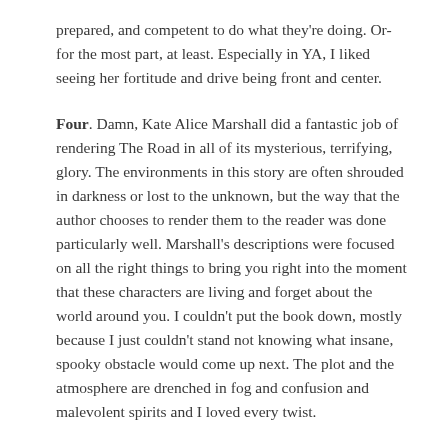prepared, and competent to do what they're doing. Or- for the most part, at least. Especially in YA, I liked seeing her fortitude and drive being front and center.
Four. Damn, Kate Alice Marshall did a fantastic job of rendering The Road in all of its mysterious, terrifying, glory. The environments in this story are often shrouded in darkness or lost to the unknown, but the way that the author chooses to render them to the reader was done particularly well. Marshall's descriptions were focused on all the right things to bring you right into the moment that these characters are living and forget about the world around you. I couldn't put the book down, mostly because I just couldn't stand not knowing what insane, spooky obstacle would come up next. The plot and the atmosphere are drenched in fog and confusion and malevolent spirits and I loved every twist.